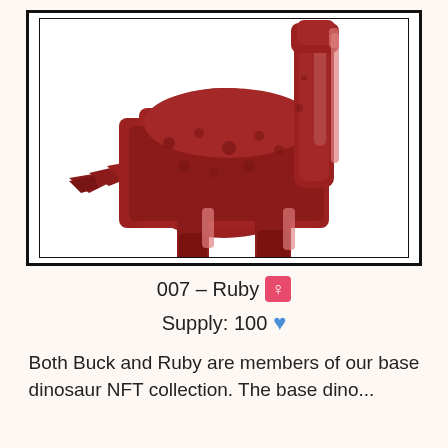[Figure (illustration): Pixel art of a red brachiosaurus-type dinosaur facing left, with darker red spots, pinkish underbelly, and small cream-colored claws on four legs. The dinosaur has a long neck extending upward and a pointed tail to the left. Set against a white background inside a black border frame.]
007 – Ruby ♀
Supply: 100 (💙)
Both Buck and Ruby are members of our base dinosaur NFT collection. The base dino...